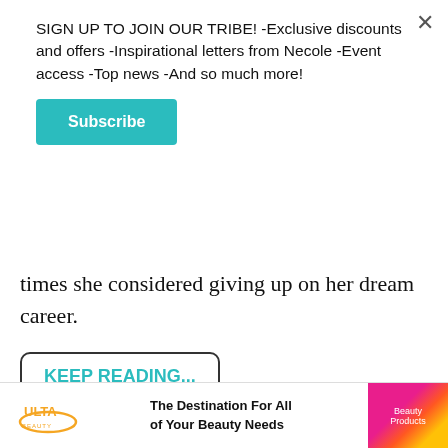SIGN UP TO JOIN OUR TRIBE! -Exclusive discounts and offers -Inspirational letters from Necole -Event access -Top news -And so much more!
Subscribe
times she considered giving up on her dream career.
KEEP READING...
Share  Twitter  [Pinterest]  [SMS]
[Figure (other): Ulta Beauty advertisement banner with text: The Destination For All of Your Beauty Needs, with beauty products image on right]